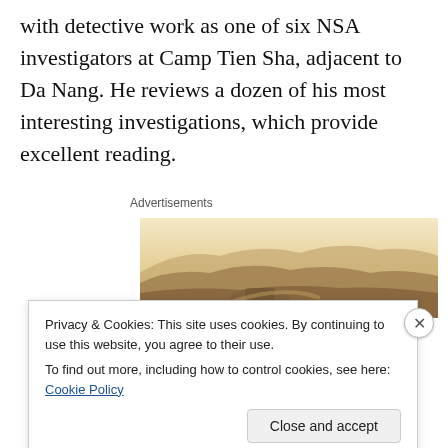with detective work as one of six NSA investigators at Camp Tien Sha, adjacent to Da Nang. He reviews a dozen of his most interesting investigations, which provide excellent reading.
Advertisements
[Figure (photo): A sepia-toned aerial photograph of hilly terrain with a building or structure visible in the lower portion.]
Privacy & Cookies: This site uses cookies. By continuing to use this website, you agree to their use.
To find out more, including how to control cookies, see here: Cookie Policy